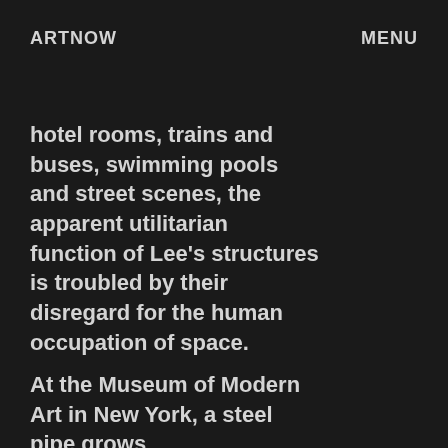ARTNOW    MENU
hotel rooms, trains and buses, swimming pools and street scenes, the apparent utilitarian function of Lee's structures is troubled by their disregard for the human occupation of space.
At the Museum of Modern Art in New York, a steel pipe grows